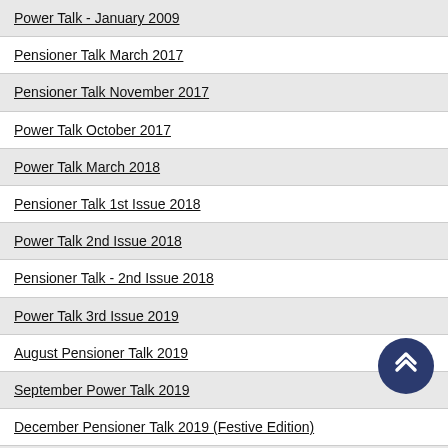Power Talk - January 2009
Pensioner Talk March 2017
Pensioner Talk November 2017
Power Talk October 2017
Power Talk March 2018
Pensioner Talk 1st Issue 2018
Power Talk 2nd Issue 2018
Pensioner Talk - 2nd Issue 2018
Power Talk 3rd Issue 2019
August Pensioner Talk 2019
September Power Talk 2019
December Pensioner Talk 2019 (Festive Edition)
December Power Talk 2019